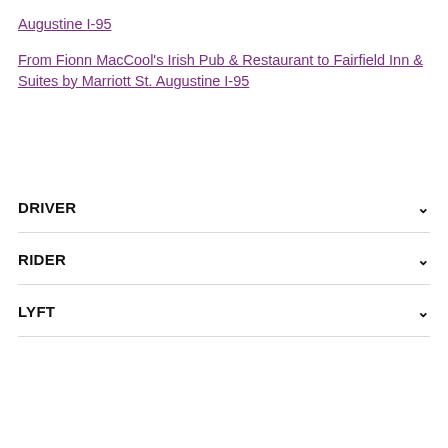Augustine I-95
From Fionn MacCool's Irish Pub & Restaurant to Fairfield Inn & Suites by Marriott St. Augustine I-95
DRIVER
RIDER
LYFT